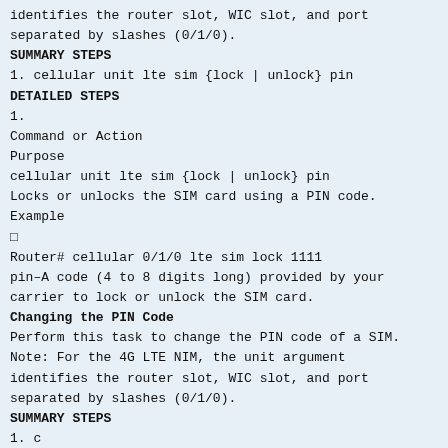identifies the router slot, WIC slot, and port separated by slashes (0/1/0).
SUMMARY STEPS
1. cellular unit lte sim {lock | unlock} pin
DETAILED STEPS
1.
Command or Action
Purpose
cellular unit lte sim {lock | unlock} pin
Locks or unlocks the SIM card using a PIN code.
Example
□
Router# cellular 0/1/0 lte sim lock 1111
pin–A code (4 to 8 digits long) provided by your carrier to lock or unlock the SIM card.
Changing the PIN Code
Perform this task to change the PIN code of a SIM.
Note: For the 4G LTE NIM, the unit argument identifies the router slot, WIC slot, and port separated by slashes (0/1/0).
SUMMARY STEPS
1. c
DETAILED STEPS
1.
Command or Action
Purpose
cellular ...
Changes ...
locks ...
state ...
Example
Router# ...
Verifying the Security Information of a Modem
[Figure (screenshot): Cookie consent overlay popup with blue background. Text: 'This website uses cookies to ensure you get the best experience on our website. Learn more'. Two buttons: 'Decline' and 'Allow cookies'.]